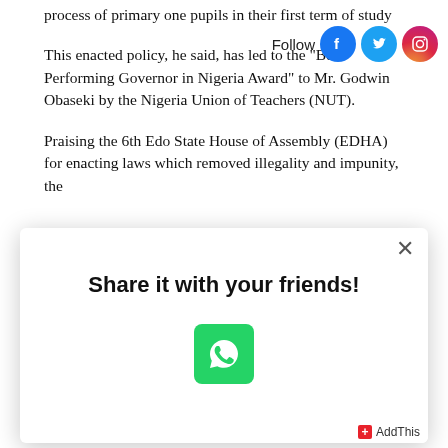process of primary one pupils in their first term of study
This enacted policy, he said, has led to the “Best Performing Governor in Nigeria Award” to Mr. Godwin Obaseki by the Nigeria Union of Teachers (NUT).
Praising the 6th Edo State House of Assembly (EDHA) for enacting laws which removed illegality and impunity, the
[Figure (screenshot): Share it with your friends modal dialog with a WhatsApp icon and close button, with AddThis branding in the bottom right corner]
policies built with enacted laws so as not to put the future